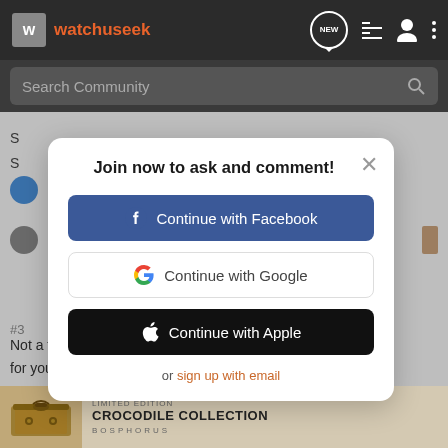watchuseek — navigation bar with NEW badge, list icon, person icon, and more icon
Search Community
Join now to ask and comment!
Continue with Facebook
Continue with Google
Continue with Apple
or sign up with email
Not a fa... easier for you t... it a
[Figure (screenshot): Ad banner for LIMITED EDITION CROCODILE COLLECTION BOSPHORUS with decorative box image]